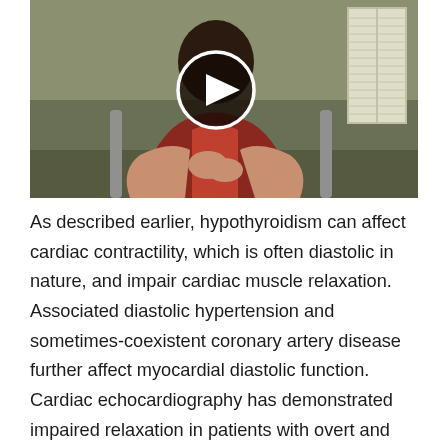[Figure (photo): Video thumbnail showing a person seated, wearing a red vest, with a play button overlay in the center. Background shows a neutral-colored wall and a window with blinds on the right side.]
As described earlier, hypothyroidism can affect cardiac contractility, which is often diastolic in nature, and impair cardiac muscle relaxation. Associated diastolic hypertension and sometimes-coexistent coronary artery disease further affect myocardial diastolic function. Cardiac echocardiography has demonstrated impaired relaxation in patients with overt and subclinical hypothyroidism. In addition, early impaired relaxation has been demonstrated by prolongation of the isovolumetric relaxation time and reduction in the E/A ratio in subclinical hypothyroidism. The E/A ratio is a ratio of early to late ventricular filling